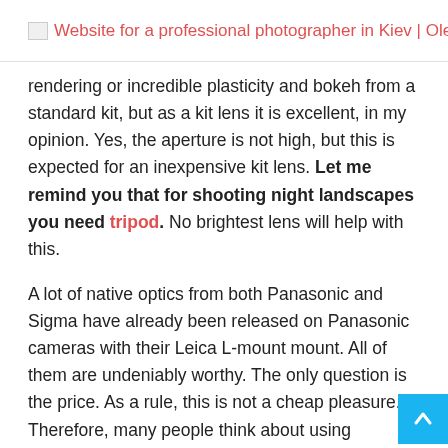Website for a professional photographer in Kiev | Olegasph
rendering or incredible plasticity and bokeh from a standard kit, but as a kit lens it is excellent, in my opinion. Yes, the aperture is not high, but this is expected for an inexpensive kit lens. Let me remind you that for shooting night landscapes you need tripod. No brightest lens will help with this.
A lot of native optics from both Panasonic and Sigma have already been released on Panasonic cameras with their Leica L-mount mount. All of them are undeniably worthy. The only question is the price. As a rule, this is not a cheap pleasure. Therefore, many people think about using adapters for Canon EF lenses. And it works. Even with inexpensive Commlite adapter you'll get autofocus in photo mode. In video mode, AE with non-